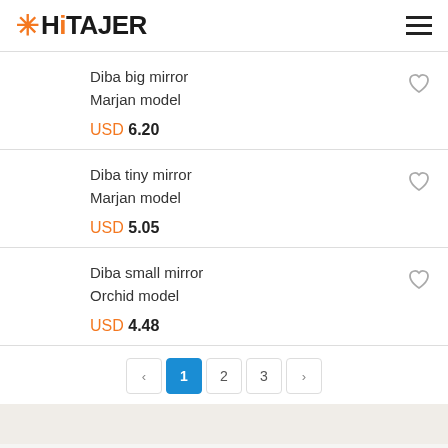HiTAJER
Diba big mirror
Marjan model
USD 6.20
Diba tiny mirror
Marjan model
USD 5.05
Diba small mirror
Orchid model
USD 4.48
‹ 1 2 3 ›